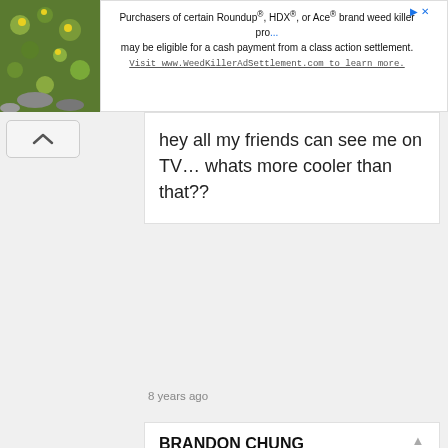[Figure (screenshot): Advertisement banner for WeedKillerAdSettlement.com with plant photo on left]
hey all my friends can see me on TV… whats more cooler than that??
8 years ago
BRANDON CHUNG
This show sounds very fun, outgoing, interesting, and witty person I am an 19 year old college student and have knowledge in many things ranging from sports, celebrities, science facts, geography, history and just random facts not many people